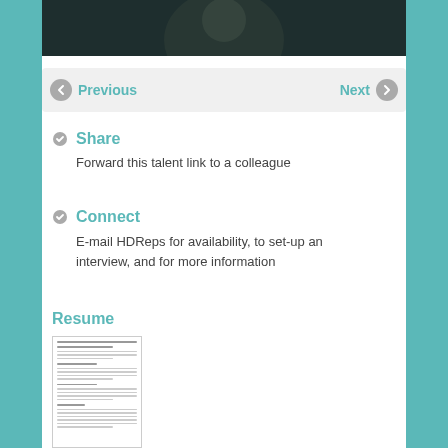[Figure (photo): Dark photograph strip showing a person, cropped at top]
Previous   Next
Share
Forward this talent link to a colleague
Connect
E-mail HDReps for availability, to set-up an interview, and for more information
Resume
[Figure (screenshot): Thumbnail image of a resume document]